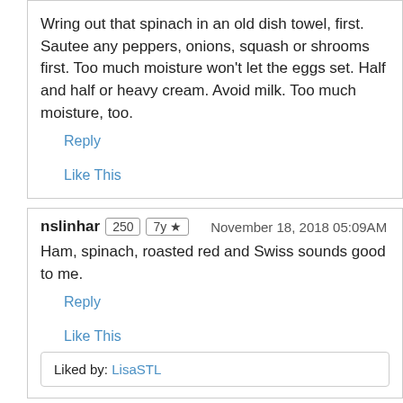Wring out that spinach in an old dish towel, first. Sautee any peppers, onions, squash or shrooms first. Too much moisture won't let the eggs set. Half and half or heavy cream. Avoid milk. Too much moisture, too.
Reply
Like This
nslinhar  250  7y ★  November 18, 2018 05:09AM
Ham, spinach, roasted red and Swiss sounds good to me.
Reply
Like This
Liked by: LisaSTL